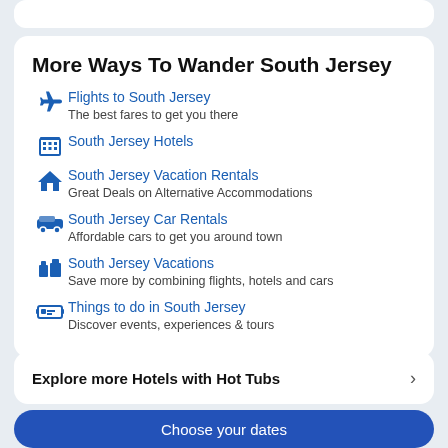More Ways To Wander South Jersey
Flights to South Jersey
The best fares to get you there
South Jersey Hotels
South Jersey Vacation Rentals
Great Deals on Alternative Accommodations
South Jersey Car Rentals
Affordable cars to get you around town
South Jersey Vacations
Save more by combining flights, hotels and cars
Things to do in South Jersey
Discover events, experiences & tours
Explore more Hotels with Hot Tubs
Choose your dates